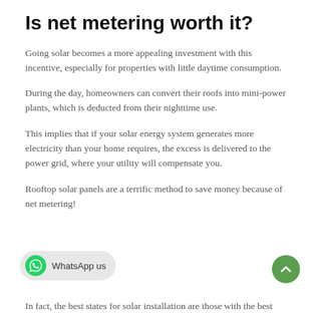Is net metering worth it?
Going solar becomes a more appealing investment with this incentive, especially for properties with little daytime consumption.
During the day, homeowners can convert their roofs into mini-power plants, which is deducted from their nighttime use.
This implies that if your solar energy system generates more electricity than your home requires, the excess is delivered to the power grid, where your utility will compensate you.
Rooftop solar panels are a terrific method to save money because of net metering!
In fact, the best states for solar installation are those with the best